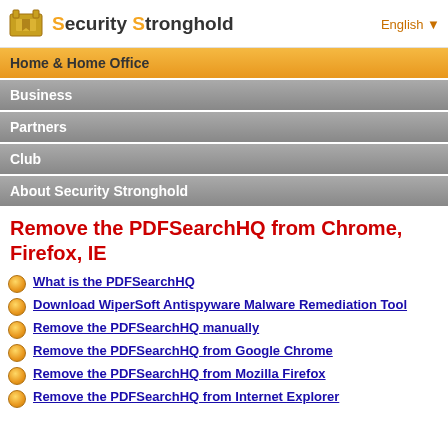Security Stronghold | English
Home & Home Office
Business
Partners
Club
About Security Stronghold
Remove the PDFSearchHQ from Chrome, Firefox, IE
What is the PDFSearchHQ
Download WiperSoft Antispyware Malware Remediation Tool
Remove the PDFSearchHQ manually
Remove the PDFSearchHQ from Google Chrome
Remove the PDFSearchHQ from Mozilla Firefox
Remove the PDFSearchHQ from Internet Explorer